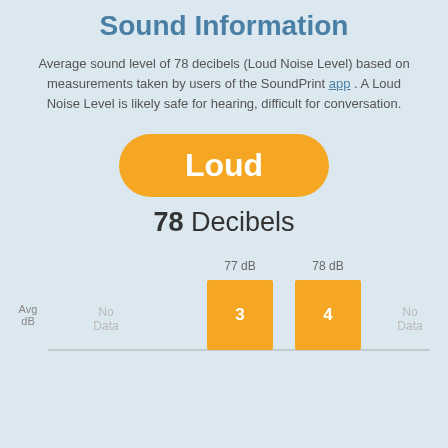Sound Information
Average sound level of 78 decibels (Loud Noise Level) based on measurements taken by users of the SoundPrint app . A Loud Noise Level is likely safe for hearing, difficult for conversation.
[Figure (infographic): Orange rounded badge displaying the word 'Loud']
78 Decibels
[Figure (bar-chart): Avg dB by session]